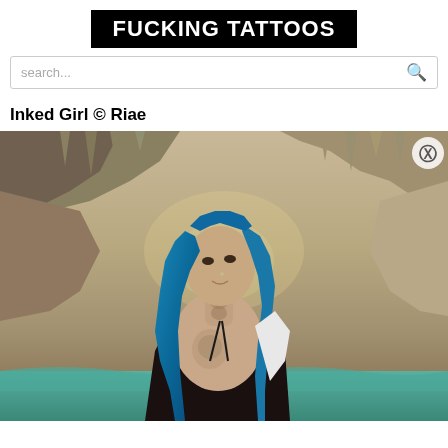FUCKING TATTOOS
search...
Inked Girl © Riae
[Figure (photo): A heavily tattooed woman with long blue hair standing in a cave or cenote setting. She is wearing a black bikini top and has extensive tattoos on her neck, chest, and body. The background shows rocky cave walls with stalactites and turquoise water visible at the bottom.]